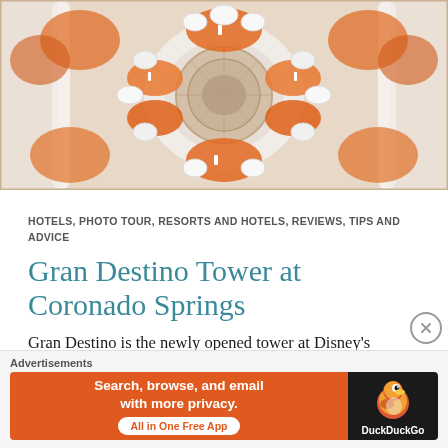[Figure (photo): Overhead/aerial view of an elegant restaurant interior at Gran Destino Tower at Coronado Springs, showing a circular seating arrangement with orange and white decor, ornate tables set for dining, and decorative architectural details]
HOTELS, PHOTO TOUR, RESORTS AND HOTELS, REVIEWS, TIPS AND ADVICE
Gran Destino Tower at Coronado Springs
Gran Destino is the newly opened tower at Disney's Coronado Springs Resort. Despite being vastly different from the rest of Coronado Springs, the tower is still just considered to be part of the resort. This means it must be booked as a “Tower Room” though the Coronado Springs page. Upon arriving, the parking lot for the
Advertisements
[Figure (screenshot): DuckDuckGo advertisement banner: orange background on left with text 'Search, browse, and email with more privacy. All in One Free App', dark background on right with DuckDuckGo duck logo and 'DuckDuckGo' text]